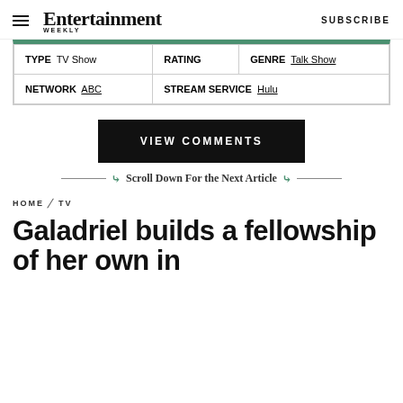Entertainment Weekly — SUBSCRIBE
| TYPE  TV Show | RATING | GENRE  Talk Show |
| NETWORK  ABC | STREAM SERVICE  Hulu |  |
VIEW COMMENTS
Scroll Down For the Next Article
HOME / TV
Galadriel builds a fellowship of her own in